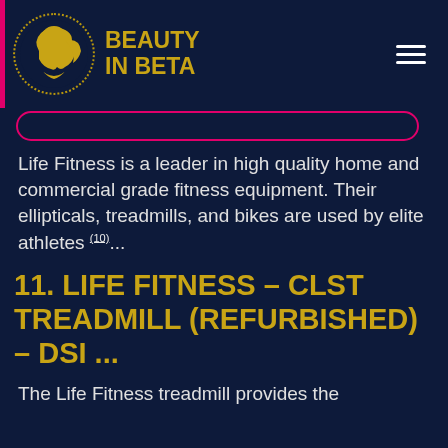BEAUTY IN BETA
Life Fitness is a leader in high quality home and commercial grade fitness equipment. Their ellipticals, treadmills, and bikes are used by elite athletes (10)...
11. LIFE FITNESS – CLST TREADMILL (REFURBISHED) – DSI ...
The Life Fitness treadmill provides the